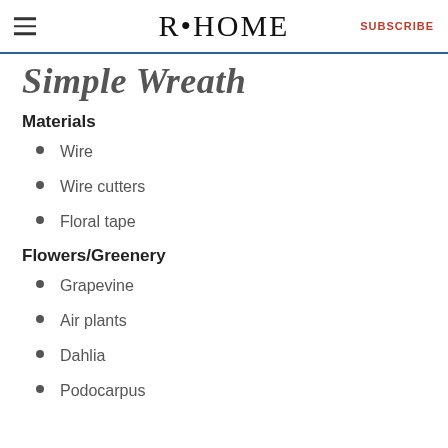R·HOME  SUBSCRIBE
Simple Wreath
Materials
Wire
Wire cutters
Floral tape
Flowers/Greenery
Grapevine
Air plants
Dahlia
Podocarpus